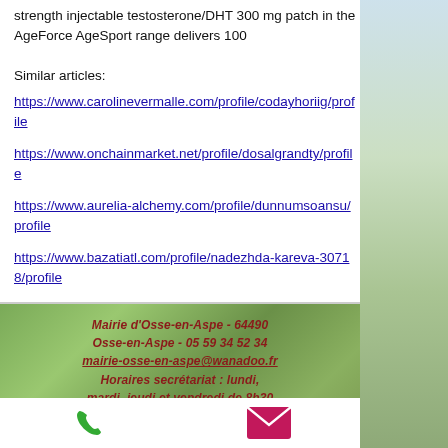strength injectable testosterone/DHT 300 mg patch in the AgeForce AgeSport range delivers 100
Similar articles:
https://www.carolinevermalle.com/profile/codayhoriig/profile
https://www.onchainmarket.net/profile/dosalgrandty/profile
https://www.aurelia-alchemy.com/profile/dunnumsoansu/profile
https://www.bazatiatl.com/profile/nadezhda-kareva-30718/profile
Mairie d'Osse-en-Aspe - 64490
Osse-en-Aspe - 05 59 34 52 34
mairie-osse-en-aspe@wanadoo.fr
Horaires secrétariat : lundi, mardi, jeudi et vendredi de 8h30
[Figure (other): Phone icon (green handset) and mail icon (pink envelope) in the footer icon bar]